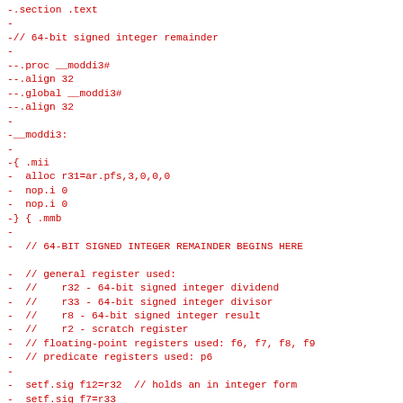-.section .text
-
-// 64-bit signed integer remainder
-
-.proc __moddi3#
-.align 32
-.global __moddi3#
-.align 32
-
-__moddi3:
-
-{ .mii
-  alloc r31=ar.pfs,3,0,0,0
-  nop.i 0
-  nop.i 0
-} { .mmb
-
-  // 64-BIT SIGNED INTEGER REMAINDER BEGINS HERE
-
-  // general register used:
-  //    r32 - 64-bit signed integer dividend
-  //    r33 - 64-bit signed integer divisor
-  //    r8 - 64-bit signed integer result
-  //    r2 - scratch register
-  // floating-point registers used: f6, f7, f8, f9
-  // predicate registers used: p6
-
-  setf.sig f12=r32  // holds an in integer form
-  setf.sig f7=r33
-  nop.b 0